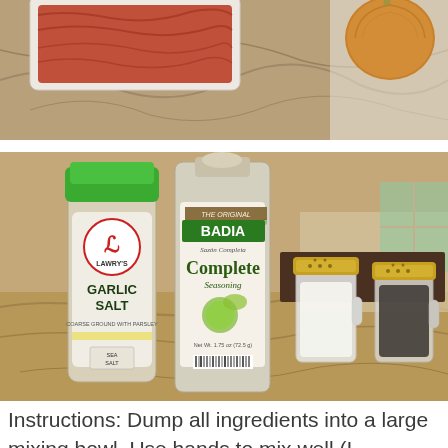[Figure (photo): Photo of raw ground beef in a white foam tray and a brown onion on a white surface on a granite countertop, showing the top portion of the image cropped at the bottom.]
[Figure (photo): Photo of seasoning bottles on a granite countertop: Lawry's Garlic Salt container with green lid, Badia Complete Seasoning (Sazon Completa) tall clear bottle, a glass mason jar with gold lid containing white salt, and a glass mason jar mug with gold lid containing black pepper. Kitchen background visible.]
Instructions: Dump all ingredients into a large mixing bowl. Use hands to mix well (I